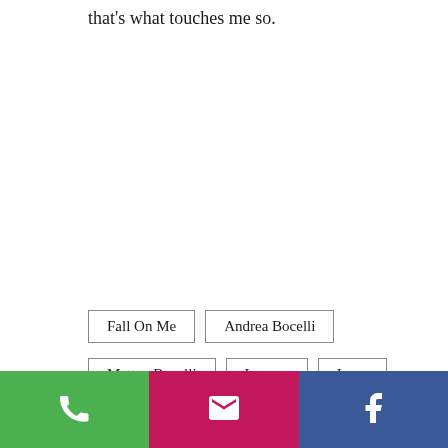that's what touches me so.
Fall On Me
Andrea Bocelli
Matteo Bocelli
Legacy
Love